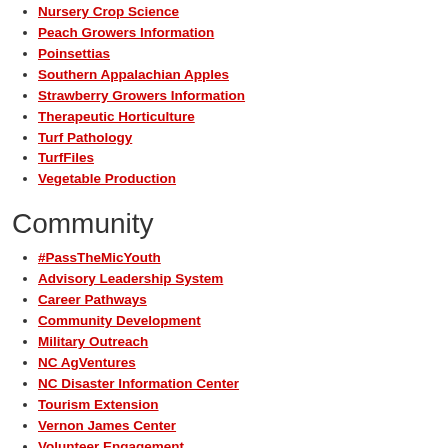Nursery Crop Science
Peach Growers Information
Poinsettias
Southern Appalachian Apples
Strawberry Growers Information
Therapeutic Horticulture
Turf Pathology
TurfFiles
Vegetable Production
Community
#PassTheMicYouth
Advisory Leadership System
Career Pathways
Community Development
Military Outreach
NC AgVentures
NC Disaster Information Center
Tourism Extension
Vernon James Center
Volunteer Engagement